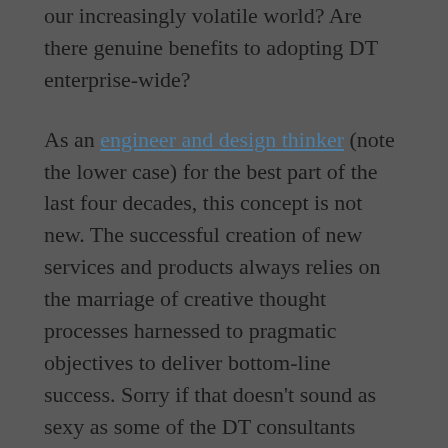our increasingly volatile world? Are there genuine benefits to adopting DT enterprise-wide?
As an engineer and design thinker (note the lower case) for the best part of the last four decades, this concept is not new. The successful creation of new services and products always relies on the marriage of creative thought processes harnessed to pragmatic objectives to deliver bottom-line success. Sorry if that doesn't sound as sexy as some of the DT consultants would have you believe.
But wait, there is good news... incorporating DT into industrial age approaches can breathe